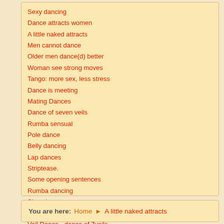Sexy dancing
Dance attracts women
A little naked attracts
Men cannot dance
Older men dance(d) better
Woman see strong moves
Tango: more sex, less stress
Dance is meeting
Mating Dances
Dance of seven veils
Rumba sensual
Pole dance
Belly dancing
Lap dances
Striptease.
Some opening sentences
Rumba dancing
Slow dance
Twerking, bubbling...
Veil Dance - dance of 7veils
Dance & seduction (2)
You are here: Home ▶ A little naked attracts